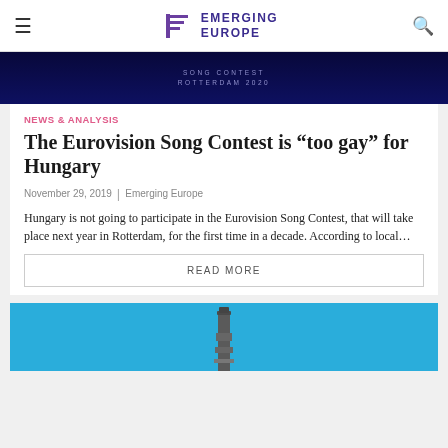EMERGING EUROPE
[Figure (photo): Dark blue banner with 'SONG CONTEST ROTTERDAM 2020' text]
NEWS & ANALYSIS
The Eurovision Song Contest is “too gay” for Hungary
November 29, 2019 | Emerging Europe
Hungary is not going to participate in the Eurovision Song Contest, that will take place next year in Rotterdam, for the first time in a decade. According to local…
READ MORE
[Figure (photo): Industrial chimney or tower against a bright blue sky]